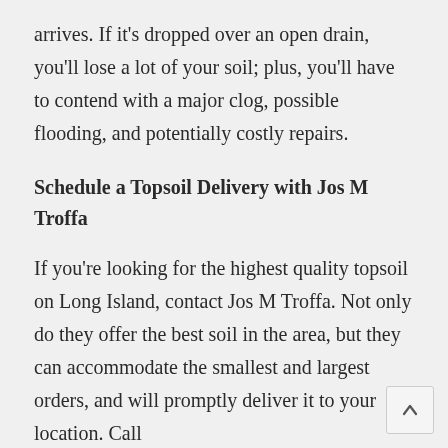arrives. If it’s dropped over an open drain, you’ll lose a lot of your soil; plus, you’ll have to contend with a major clog, possible flooding, and potentially costly repairs.
Schedule a Topsoil Delivery with Jos M Troffa
If you’re looking for the highest quality topsoil on Long Island, contact Jos M Troffa. Not only do they offer the best soil in the area, but they can accommodate the smallest and largest orders, and will promptly deliver it to your location. Call